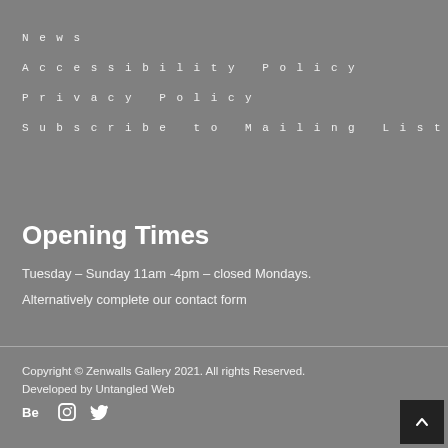News
Accessibility Policy
Privacy Policy
Subscribe to Mailing List
Opening Times
Tuesday – Sunday 11am -4pm – closed Mondays.
Alternatively complete our contact form
Copyright © Zenwalls Gallery 2021. All rights Reserved.
Developed by Untangled Web